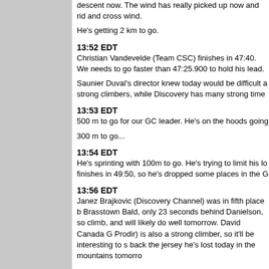descent now. The wind has really picked up now and rid and cross wind.
He's getting 2 km to go.
13:52 EDT
Christian Vandevelde (Team CSC) finishes in 47:40. We needs to go faster than 47:25.900 to hold his lead.
Saunier Duval's director knew today would be difficult a strong climbers, while Discovery has many strong time
13:53 EDT
500 m to go for our GC leader. He's on the hoods going
300 m to go...
13:54 EDT
He's sprinting with 100m to go. He's trying to limit his lo finishes in 49:50, so he's dropped some places in the G
13:56 EDT
Janez Brajkovic (Discovery Channel) was in fifth place b Brasstown Bald, only 23 seconds behind Danielson, so climb, and will likely do well tomorrow. David Canada G Prodir) is also a strong climber, so it'll be interesting to s back the jersey he's lost today in the mountains tomorro
14:02 EDT
Janez Brajkovic (Discovery Channel) will go into tomor yellow jersey after his strong time trial today.
14:11 EDT